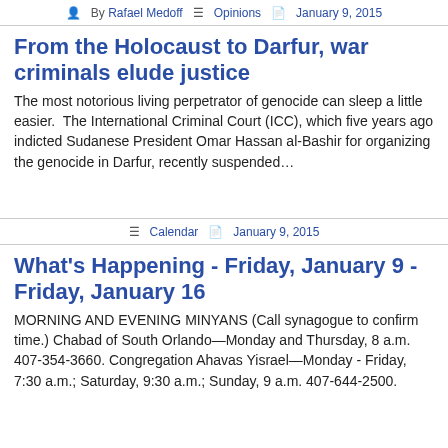By Rafael Medoff   Opinions   January 9, 2015
From the Holocaust to Darfur, war criminals elude justice
The most notorious living perpetrator of genocide can sleep a little easier.  The International Criminal Court (ICC), which five years ago indicted Sudanese President Omar Hassan al-Bashir for organizing the genocide in Darfur, recently suspended…
Calendar   January 9, 2015
What's Happening - Friday, January 9 - Friday, January 16
MORNING AND EVENING MINYANS (Call synagogue to confirm time.) Chabad of South Orlando—Monday and Thursday, 8 a.m. 407-354-3660. Congregation Ahavas Yisrael—Monday - Friday, 7:30 a.m.; Saturday, 9:30 a.m.; Sunday, 9 a.m. 407-644-2500.